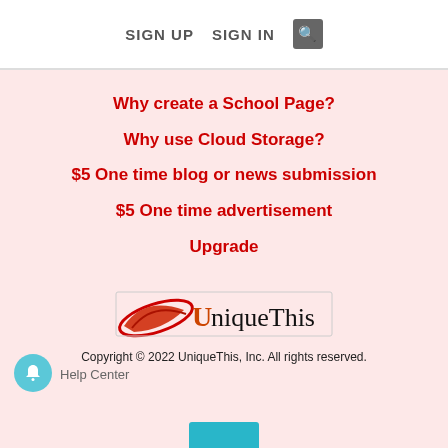SIGN UP   SIGN IN   🔍
Why create a School Page?
Why use Cloud Storage?
$5 One time blog or news submission
$5 One time advertisement
Upgrade
[Figure (logo): UniqueThis logo with red swoosh graphic and stylized text]
Copyright © 2022 UniqueThis, Inc. All rights reserved.
Help Center